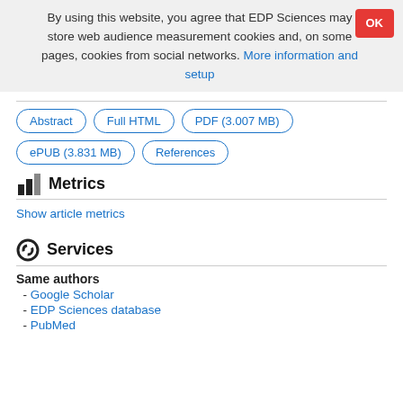By using this website, you agree that EDP Sciences may store web audience measurement cookies and, on some pages, cookies from social networks. More information and setup
Abstract | Full HTML | PDF (3.007 MB) | ePUB (3.831 MB) | References
Metrics
Show article metrics
Services
Same authors
- Google Scholar
- EDP Sciences database
- PubMed